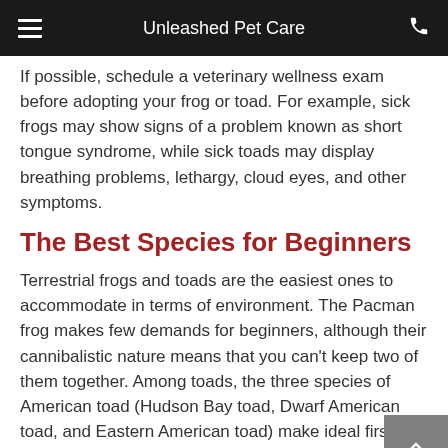Unleashed Pet Care
If possible, schedule a veterinary wellness exam before adopting your frog or toad. For example, sick frogs may show signs of a problem known as short tongue syndrome, while sick toads may display breathing problems, lethargy, cloud eyes, and other symptoms.
The Best Species for Beginners
Terrestrial frogs and toads are the easiest ones to accommodate in terms of environment. The Pacman frog makes few demands for beginners, although their cannibalistic nature means that you can't keep two of them together. Among toads, the three species of American toad (Hudson Bay toad, Dwarf American toad, and Eastern American toad) make ideal first-time pets.
General Care Tips